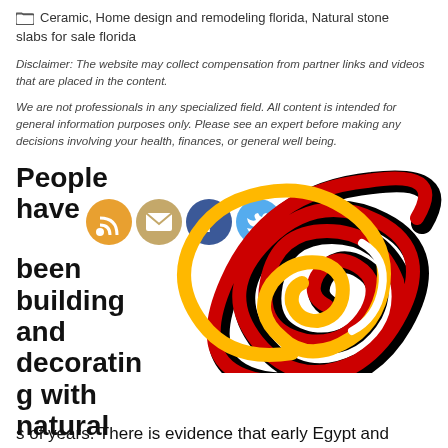Ceramic, Home design and remodeling florida, Natural stone
slabs for sale florida
Disclaimer: The website may collect compensation from partner links and videos that are placed in the content.
We are not professionals in any specialized field. All content is intended for general information purposes only. Please see an expert before making any decisions involving your health, finances, or general well being.
People have been building and decorating with natural stone slabs for thousands of years. There is evidence that early Egypt and
[Figure (illustration): Colorful swirl logo with red, yellow, black and white spiral design]
[Figure (illustration): Four social media icons: RSS feed (orange), Email (tan/gold), Facebook (blue), Twitter (light blue)]